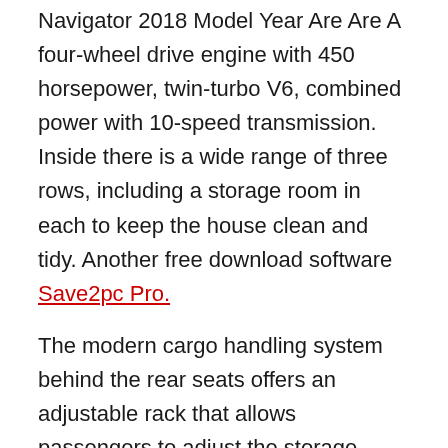Navigator 2018 Model Year Are Are A four-wheel drive engine with 450 horsepower, twin-turbo V6, combined power with 10-speed transmission. Inside there is a wide range of three rows, including a storage room in each to keep the house clean and tidy. Another free download software Save2pc Pro.
The modern cargo handling system behind the rear seats offers an adjustable rack that allows passengers to adjust the storage space. Even when you are following the SUV, the feature ensures that they do not leave the grocery store when opening the elevator door. Easy to connect with six USB ports, four 12-volt sockets ʟ 110-volt sockets. The